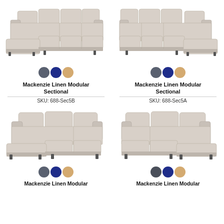[Figure (photo): Mackenzie Linen Modular Sectional sofa, left chaise configuration, beige/linen color, top-left product]
[Figure (photo): Mackenzie Linen Modular Sectional sofa, right chaise configuration, beige/linen color, top-right product]
Mackenzie Linen Modular Sectional
SKU: 688-Sec5B
Mackenzie Linen Modular Sectional
SKU: 688-Sec5A
[Figure (photo): Mackenzie Linen Modular Sectional sofa, smaller left chaise configuration, beige/linen color, bottom-left product]
[Figure (photo): Mackenzie Linen Modular Sectional sofa, smaller right chaise configuration, beige/linen color, bottom-right product]
Mackenzie Linen Modular
Mackenzie Linen Modular